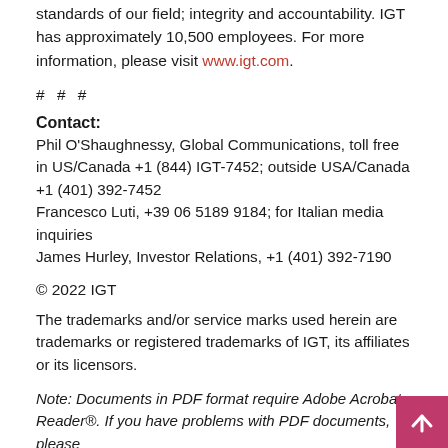standards of our field; integrity and accountability. IGT has approximately 10,500 employees. For more information, please visit www.igt.com.
# # #
Contact:
Phil O'Shaughnessy, Global Communications, toll free in US/Canada +1 (844) IGT-7452; outside USA/Canada +1 (401) 392-7452
Francesco Luti, +39 06 5189 9184; for Italian media inquiries
James Hurley, Investor Relations, +1 (401) 392-7190
© 2022 IGT
The trademarks and/or service marks used herein are trademarks or registered trademarks of IGT, its affiliates or its licensors.
Note: Documents in PDF format require Adobe Acrobat Reader®. If you have problems with PDF documents, please